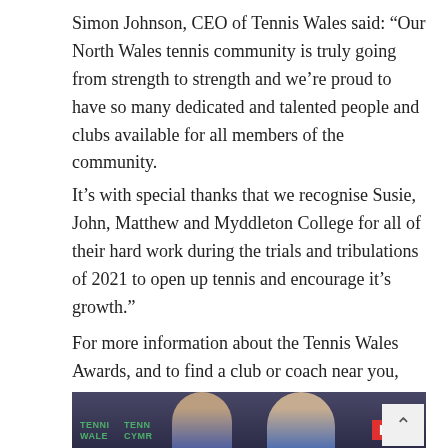Simon Johnson, CEO of Tennis Wales said: “Our North Wales tennis community is truly going from strength to strength and we’re proud to have so many dedicated and talented people and clubs available for all members of the community.
It’s with special thanks that we recognise Susie, John, Matthew and Myddleton College for all of their hard work during the trials and tribulations of 2021 to open up tennis and encourage it’s growth."
For more information about the Tennis Wales Awards, and to find a club or coach near you, visit lta.org.uk/about-us/in-your-area/tennis-wales/
[Figure (photo): Two men standing in front of a Tennis Wales / Cymru backdrop with LTA branding, smiling at the camera.]